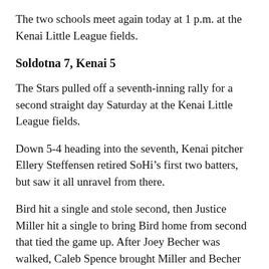The two schools meet again today at 1 p.m. at the Kenai Little League fields.
Soldotna 7, Kenai 5
The Stars pulled off a seventh-inning rally for a second straight day Saturday at the Kenai Little League fields.
Down 5-4 heading into the seventh, Kenai pitcher Ellery Steffensen retired SoHi’s first two batters, but saw it all unravel from there.
Bird hit a single and stole second, then Justice Miller hit a single to bring Bird home from second that tied the game up. After Joey Becher was walked, Caleb Spence brought Miller and Becher home on a go-ahead single.